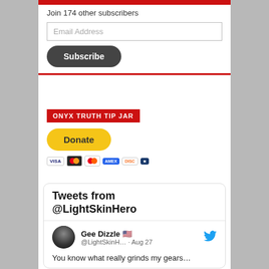Join 174 other subscribers
Email Address
Subscribe
ONYX TRUTH TIP JAR
[Figure (other): PayPal Donate button with credit card icons (Visa, Mastercard, Maestro, American Express, Discover, and another card)]
[Figure (screenshot): Tweets from @LightSkinHero widget showing tweet by Gee Dizzle @LightSkinH... Aug 27: You know what really grinds my gears...]